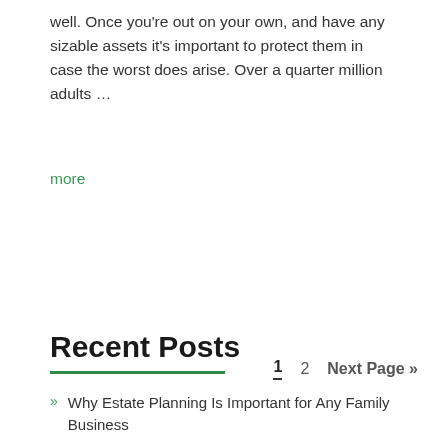well. Once you're out on your own, and have any sizable assets it's important to protect them in case the worst does arise. Over a quarter million adults ...
more
1  2  Next Page »
Recent Posts
Why Estate Planning Is Important for Any Family Business